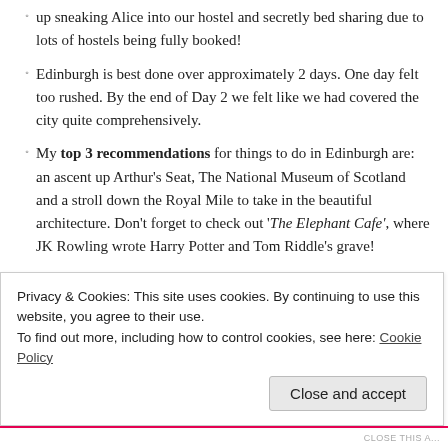up sneaking Alice into our hostel and secretly bed sharing due to lots of hostels being fully booked!
Edinburgh is best done over approximately 2 days. One day felt too rushed. By the end of Day 2 we felt like we had covered the city quite comprehensively.
My top 3 recommendations for things to do in Edinburgh are: an ascent up Arthur’s Seat, The National Museum of Scotland and a stroll down the Royal Mile to take in the beautiful architecture. Don’t forget to check out ‘The Elephant Cafe’, where JK Rowling wrote Harry Potter and Tom Riddle’s grave!
Cheap Eats: The Snax Cafe (famous for it’s Scottish Breakfast only £3.20!) and The Royal Mile Tavern (only £5.95 for a massive and delicious pub lunch).
Don’t take the coach to Edinburgh, it’s torture. Opt for a 4.5 hour train journey or a one hour flight instead. Our Megabus single was £19.00. Our return flight from Edinburgh to London Gatwick (EasyJet) was £24.99.
Privacy & Cookies: This site uses cookies. By continuing to use this website, you agree to their use.
To find out more, including how to control cookies, see here: Cookie Policy
Close and accept